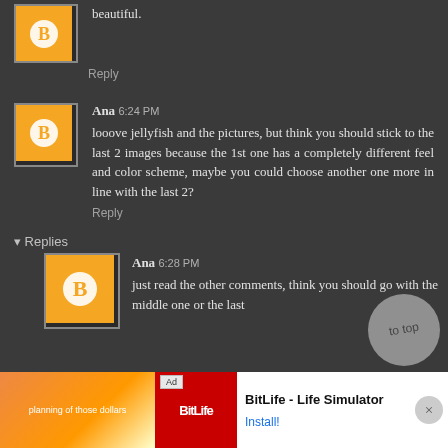[Figure (illustration): Orange Blogger avatar icon with white B logo, partial at top]
beautiful.
Reply
[Figure (illustration): Orange Blogger avatar icon with white B logo]
Ana 6:24 PM
looove jellyfish and the pictures, but think you should stick to the last 2 images because the 1st one has a completely different feel and color scheme, maybe you could choose another one more in line with the last 2?
Reply
Replies
[Figure (illustration): Orange Blogger avatar icon with white B logo, for reply]
Ana 6:28 PM
just read the other comments, think you should go with the middle one or the last
[Figure (illustration): to top circle button]
[Figure (screenshot): Advertisement banner: BitLife - Life Simulator game ad with Install button]